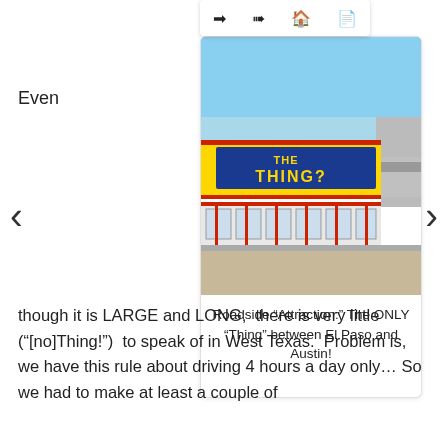Even
[Figure (photo): Exterior photo of 'The Thing?' roadside store in West Texas, with large yellow and blue signage reading 'THE THING' along the building facade, bright blue sky above, parking lot in foreground.]
Roadside “Attraction:” The ONLY “Thing” between El Paso and Austin!
though it is LARGE and LONG,  there is very little (“[no]Thing!”)  to speak of in West Texas.  Problem is,  we have this rule about driving 4 hours a day only… So we had to make at least a couple of